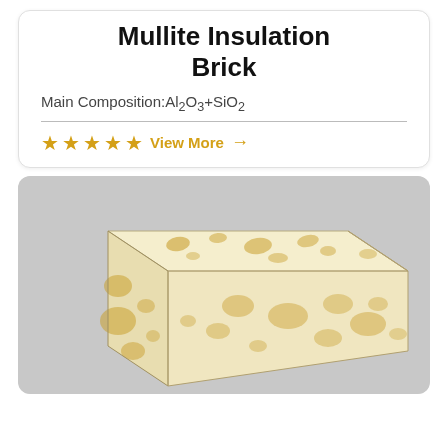Mullite Insulation Brick
Main Composition:Al2O3+SiO2
★★★★★ View More →
[Figure (photo): A rectangular mullite insulation brick with cream/off-white color and golden-yellow mottled spots/inclusions on its surface, photographed against a light gray background.]